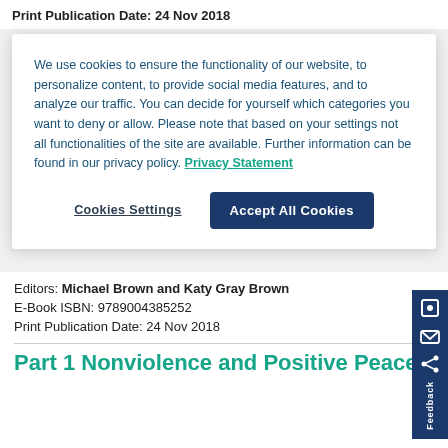Print Publication Date:  24 Nov 2018
We use cookies to ensure the functionality of our website, to personalize content, to provide social media features, and to analyze our traffic. You can decide for yourself which categories you want to deny or allow. Please note that based on your settings not all functionalities of the site are available. Further information can be found in our privacy policy.  Privacy Statement
Cookies Settings
Accept All Cookies
Editors:  Michael Brown and Katy Gray Brown
E-Book ISBN:  9789004385252
Print Publication Date:  24 Nov 2018
Part 1 Nonviolence and Positive Peace